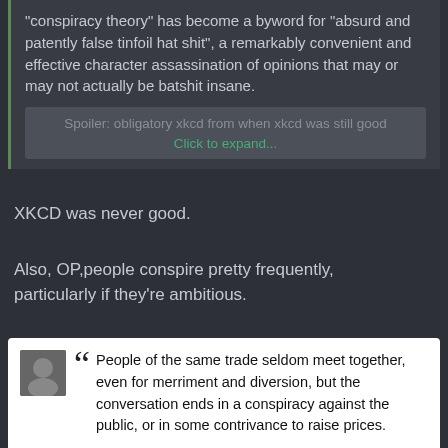"conspiracy theory" has become a byword for "absurd and patently false tinfoil hat shit", a remarkably convenient and effective character assassination of opinions that may or may not actually be batshit insane.
Spoiler: obligatory xkcd from when xkcd was still good
Click to expand...
XKCD was never good.
Also, OP,people conspire pretty frequently, particularly if they're ambitious.
People of the same trade seldom meet together, even for merriment and diversion, but the conversation ends in a conspiracy against the public, or in some contrivance to raise prices.
Adam Smith, An Inquiry into the Nature and Causes of the Wealth of Nations